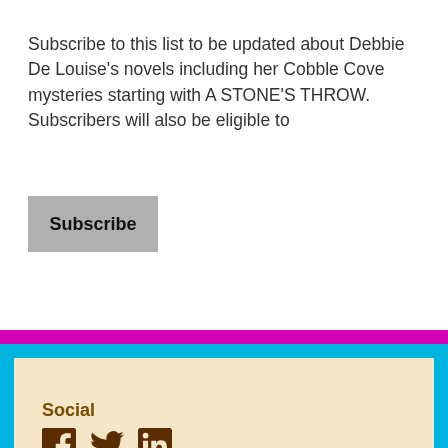Subscribe to this list to be updated about Debbie De Louise's novels including her Cobble Cove mysteries starting with A STONE'S THROW. Subscribers will also be eligible to
Subscribe
Social
[Figure (infographic): Social media icons: Facebook, Twitter, LinkedIn in brown color]
Follow Blog via Email